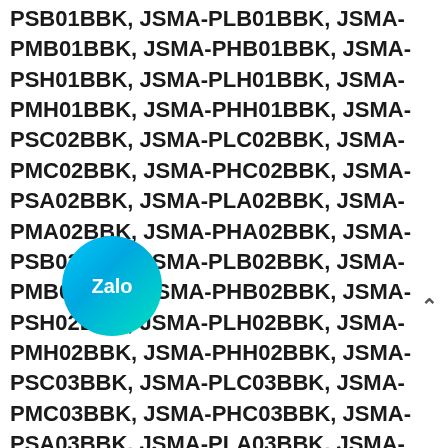PSB01BBK, JSMA-PLB01BBK, JSMA-PMB01BBK, JSMA-PHB01BBK, JSMA-PSH01BBK, JSMA-PLH01BBK, JSMA-PMH01BBK, JSMA-PHH01BBK, JSMA-PSC02BBK, JSMA-PLC02BBK, JSMA-PMC02BBK, JSMA-PHC02BBK, JSMA-PSA02BBK, JSMA-PLA02BBK, JSMA-PMA02BBK, JSMA-PHA02BBK, JSMA-PSB02BBK, JSMA-PLB02BBK, JSMA-PMB02BBK, JSMA-PHB02BBK, JSMA-PSH02BBK, JSMA-PLH02BBK, JSMA-PMH02BBK, JSMA-PHH02BBK, JSMA-PSC03BBK, JSMA-PLC03BBK, JSMA-PMC03BBK, JSMA-PHC03BBK, JSMA-PSA03BBK, JSMA-PLA03BBK, JSMA-PMA03BBK, JSMA-PHA03BBK, JSMA-PSB03BBK, JSMA-PLB03BBK, JSMA-PMB03BBK, JSMA-PHB03BBK, JSMA-PSH03BBK, JSMA-PLH03BBK, JSMA-PMH03BBK, JSMA-PHH03BBK, JSMA-PSC04BBK, JSMA-PLC04BBK, JSMA-PMC04BBK, JSMA-PHC04BBK, JSMA-PSA04BBK, JSMA-PLA04BBK, JSMA-PMA04BBK, JSMA-PHA04BBK, JSMA-PSB04BBK, JSMA-PLB04BBK, JSMA-PMB04BBK, JSMA-PHB04BBK, JSMA-PSH04BBK, JSMA-PLH04BBK, JSMA-PMH04BBK, JSMA-PHH04BBK, JSMA-PSC05BBK, JSMA-PLC05BBK, JSMA-PMC05BBK, JSMA-PHC05BBK, JSMA-